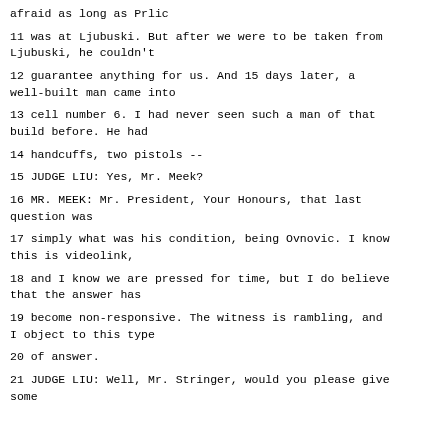afraid as long as Prlic
11 was at Ljubuski. But after we were to be taken from Ljubuski, he couldn't
12 guarantee anything for us. And 15 days later, a well-built man came into
13 cell number 6. I had never seen such a man of that build before. He had
14 handcuffs, two pistols --
15 JUDGE LIU: Yes, Mr. Meek?
16 MR. MEEK: Mr. President, Your Honours, that last question was
17 simply what was his condition, being Ovnovic. I know this is videolink,
18 and I know we are pressed for time, but I do believe that the answer has
19 become non-responsive. The witness is rambling, and I object to this type
20 of answer.
21 JUDGE LIU: Well, Mr. Stringer, would you please give some